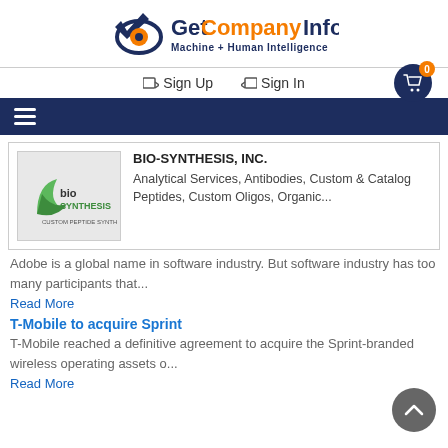[Figure (logo): GetCompanyInfo logo with eye icon and tagline Machine + Human Intelligence]
Sign Up   Sign In   Cart (0)
[Figure (infographic): Dark navy hamburger menu bar]
[Figure (logo): Bio-Synthesis Inc. company logo - green biosynthesis branding]
BIO-SYNTHESIS, INC.
Analytical Services, Antibodies, Custom & Catalog Peptides, Custom Oligos, Organic...
Adobe is a global name in software industry. But software industry has too many participants that...
Read More
T-Mobile to acquire Sprint
T-Mobile reached a definitive agreement to acquire the Sprint-branded wireless operating assets o...
Read More